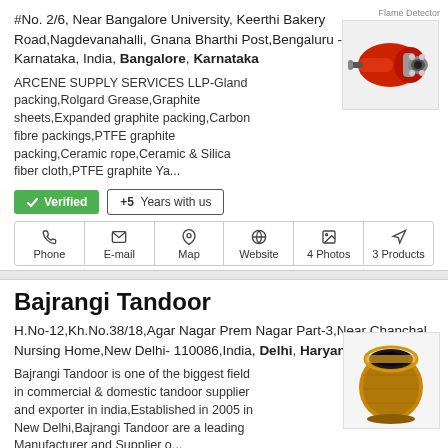#No. 2/6, Near Bangalore University, Keerthi Bakery Road,Nagdevanahalli, Gnana Bharthi Post,Bengaluru - 560056 Karnataka, India, Bangalore, Karnataka
ARCENE SUPPLY SERVICES LLP-Gland packing,Rolgard Grease,Graphite sheets,Expanded graphite packing,Carbon fibre packings,PTFE graphite packing,Ceramic rope,Ceramic & Silica fiber cloth,PTFE graphite Ya...
[Figure (photo): Red industrial flame detector / sensor device]
✔ Verified   +5 Years with us
Phone | E-mail | Map | Website | 4 Photos | 3 Products
Bajrangi Tandoor
H.No-12,Kh.No.38/18,Agar Nagar Prem Nagar Part-3,Near Chanchal Nursing Home,New Delhi- 110086,India, Delhi, Haryana
Bajrangi Tandoor is one of the biggest field in commercial & domestic tandoor supplier and exporter in india,Established in 2005 in New Delhi,Bajrangi Tandoor are a leading Manufacturer and Supplier o...
[Figure (photo): Bronze/copper tandoor cooking vessel]